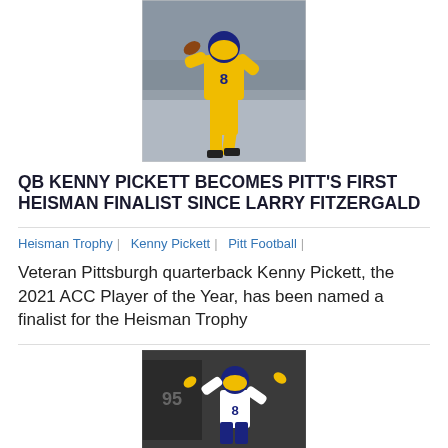[Figure (photo): Football player wearing number 8 jersey in gold and blue uniform, throwing a pass]
QB KENNY PICKETT BECOMES PITT'S FIRST HEISMAN FINALIST SINCE LARRY FITZERGALD
Heisman Trophy | Kenny Pickett | Pitt Football |
Veteran Pittsburgh quarterback Kenny Pickett, the 2021 ACC Player of the Year, has been named a finalist for the Heisman Trophy
[Figure (photo): Football player wearing number 8 jersey in white uniform celebrating on field]